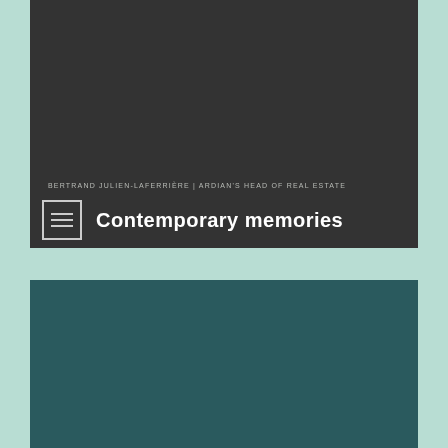[Figure (photo): Dark grey panel (top section) — background photo area, predominantly dark charcoal color]
BERTRAND JULIEN-LAFERRIÈRE | ARDIAN'S HEAD OF REAL ESTATE
Contemporary memories
[Figure (photo): Dark teal panel (bottom section) — background photo area, predominantly dark teal/green color]